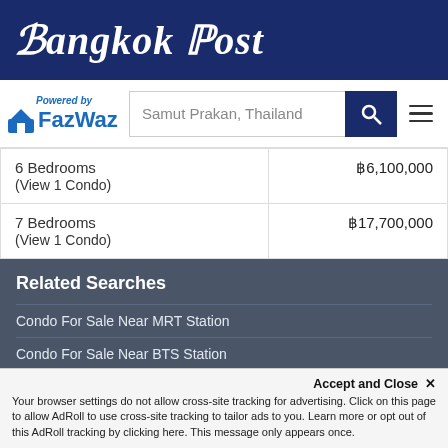Bangkok Post
[Figure (logo): Powered by FazWaz logo with house icon and search bar showing 'Samut Prakan, Thailand']
| Bedrooms | Price |
| --- | --- |
| 6 Bedrooms (View 1 Condo) | ฿6,100,000 |
| 7 Bedrooms (View 1 Condo) | ฿17,700,000 |
Related Searches
Condo For Sale Near MRT Station
Condo For Sale Near BTS Station
Condo For Sale Near Airport Rail Link Station
Accept and Close ✕
Your browser settings do not allow cross-site tracking for advertising. Click on this page to allow AdRoll to use cross-site tracking to tailor ads to you. Learn more or opt out of this AdRoll tracking by clicking here. This message only appears once.